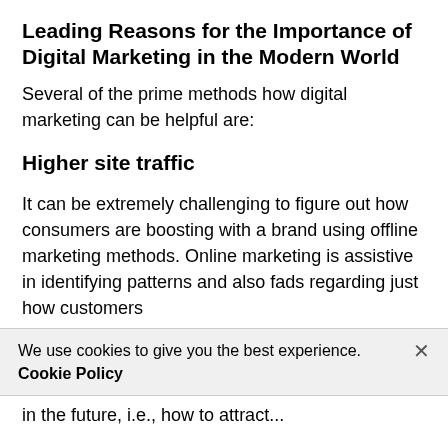Leading Reasons for the Importance of Digital Marketing in the Modern World
Several of the prime methods how digital marketing can be helpful are:
Higher site traffic
It can be extremely challenging to figure out how consumers are boosting with a brand using offline marketing methods. Online marketing is assistive in identifying patterns and also fads regarding just how customers
We use cookies to give you the best experience.
Cookie Policy
in the future, i.e., how to attract...